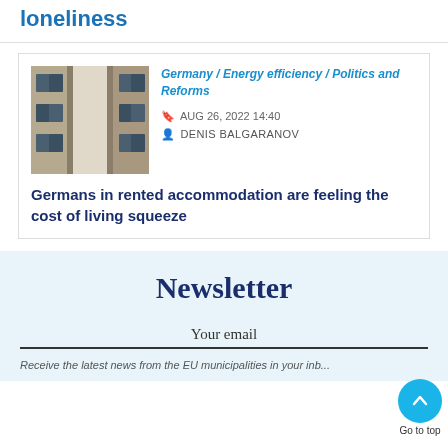loneliness
Germany / Energy efficiency / Politics and Reforms
AUG 26, 2022 14:40
DENIS BALGARANOV
[Figure (photo): Upward view of apartment building facade with windows]
Germans in rented accommodation are feeling the cost of living squeeze
Newsletter
Your email
Receive the latest news from the EU municipalities in your inbox